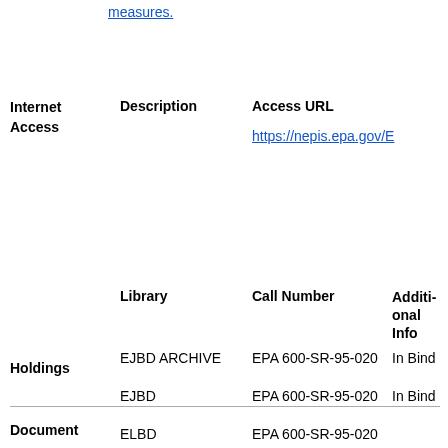measures.
|  | Description | Access URL |
| --- | --- | --- |
| Internet Access |  | https://nepis.epa.gov/E |
|  | Library | Call Number | Additional Info |
| --- | --- | --- | --- |
| Holdings | EJBD ARCHIVE | EPA 600-SR-95-020 | In Bind |
|  | EJBD | EPA 600-SR-95-020 | In Bind |
|  | ELBD | EPA 600-SR-95-020 |  |
|  | EMBD | EPA/600/SR-95/020 |  |
Collation   4 unnumbered pages ; 28 cm.
Document